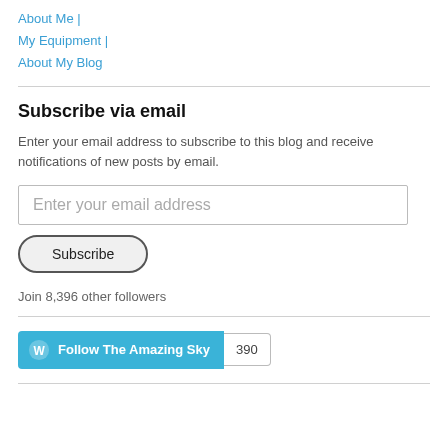About Me |
My Equipment |
About My Blog
Subscribe via email
Enter your email address to subscribe to this blog and receive notifications of new posts by email.
Enter your email address
Subscribe
Join 8,396 other followers
Follow The Amazing Sky  390